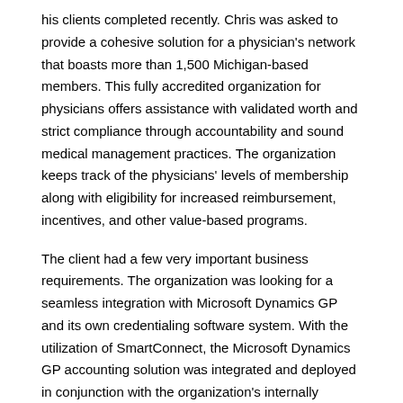his clients completed recently. Chris was asked to provide a cohesive solution for a physician's network that boasts more than 1,500 Michigan-based members. This fully accredited organization for physicians offers assistance with validated worth and strict compliance through accountability and sound medical management practices. The organization keeps track of the physicians' levels of membership along with eligibility for increased reimbursement, incentives, and other value-based programs.
The client had a few very important business requirements. The organization was looking for a seamless integration with Microsoft Dynamics GP and its own credentialing software system. With the utilization of SmartConnect, the Microsoft Dynamics GP accounting solution was integrated and deployed in conjunction with the organization's internally developed membership management solution. A variety of rebates, payments, and dividends that are accepted then must be disbursed and paid to the members efficiently.